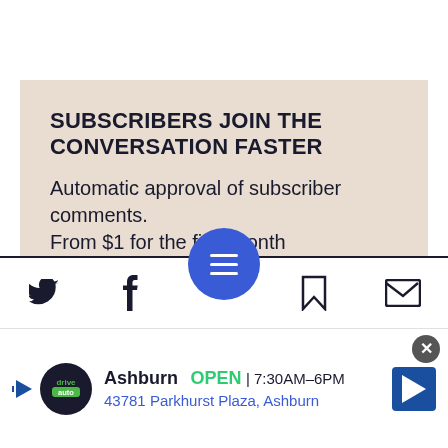SUBSCRIBERS JOIN THE CONVERSATION FASTER
Automatic approval of subscriber comments.
From $1 for the first month
SUBSCRIBE
Already signed up? LOG IN
[Figure (screenshot): Bottom navigation bar with Twitter, Facebook, hamburger menu circle, bookmark, and mail icons]
[Figure (infographic): Ad banner: drive auto logo, Ashburn OPEN 7:30AM-6PM, 43781 Parkhurst Plaza, Ashburn, with navigation arrow icon and close button]